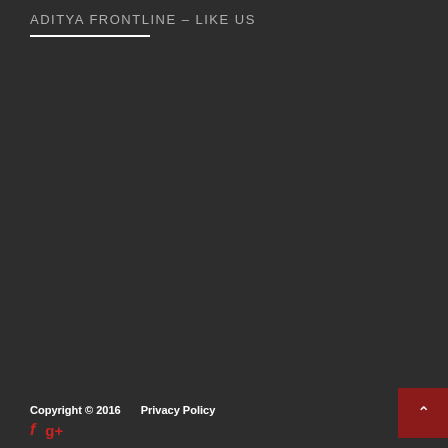ADITYA FRONTLINE – LIKE US
Copyright © 2016    Privacy Policy
[Figure (other): Social media icons: Facebook (f) and Google+ (g+) in red color]
[Figure (other): Scroll to top button with upward arrow, dark red background]